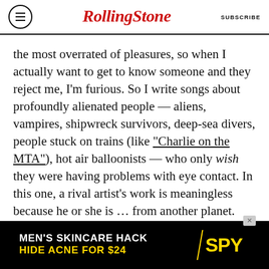RollingStone | SUBSCRIBE
the most overrated of pleasures, so when I actually want to get to know someone and they reject me, I'm furious. So I write songs about profoundly alienated people — aliens, vampires, shipwreck survivors, deep-sea divers, people stuck on trains (like "Charlie on the MTA"), hot air balloonists — who only wish they were having problems with eye contact. In this one, a rival artist's work is meaningless because he or she is … from another planet.
RELATED
[Figure (screenshot): Advertisement banner: MEN'S SKINCARE HACK HIDE ACNE FOR $24 with SPY logo in yellow and black]